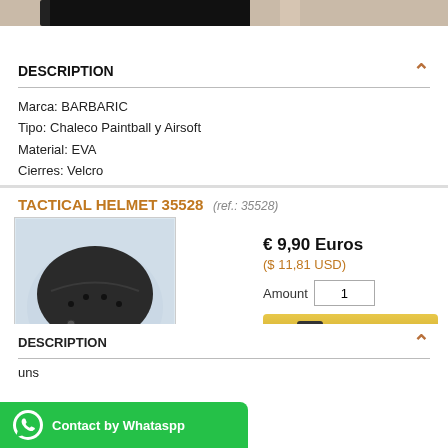[Figure (photo): Partial view of a black tactical vest on a mannequin, cropped at top]
DESCRIPTION
Marca: BARBARIC
Tipo: Chaleco Paintball y Airsoft
Material: EVA
Cierres: Velcro
Talla: Única
Color: ACU
TACTICAL HELMET 35528 (ref.: 35528)
[Figure (photo): Black tactical helmet product photo on light blue background]
€ 9,90 Euros
($ 11,81 USD)
Amount: 1
Add to cart
DESCRIPTION
uns
[Figure (other): WhatsApp contact button — Contact by Whataspp]